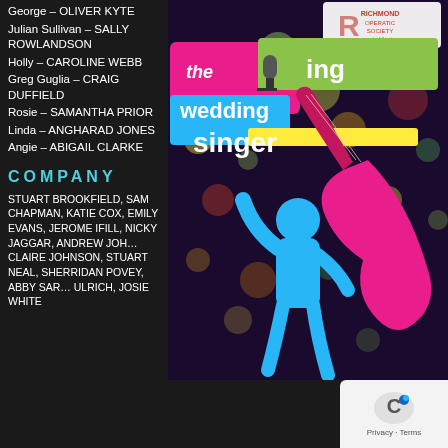George – OLIVER KYTE
Julian Sullivan – SALLY ROWLANDSON
Holly – CAROLINE WEBB
Greg Guglia – CRAIG DUFFIELD
Rosie – SAMANTHA PRIOR
Linda – ANGHARAD JONES
Angie – ABIGAIL CLARKE
COMPANY
STUART BROOKFIELD, SAM CHAPMAN, KATIE COX, EMILY EVANS, JEROME IFILL, NICKY JAGGAR, ANDREW JOHNSON, CLAIRE JOHNSON, STUART NEAL, SHERRIDAN POVEY, ABBY SARR, ULRICH, JOSIE WHITE
[Figure (illustration): The Wedding Singer musical poster featuring colorful logo text on pink, green, blue and yellow background with a blue silhouette of a guitarist and pink electric guitar, with bokeh light effects. Richmond Operatic Society logo at top.]